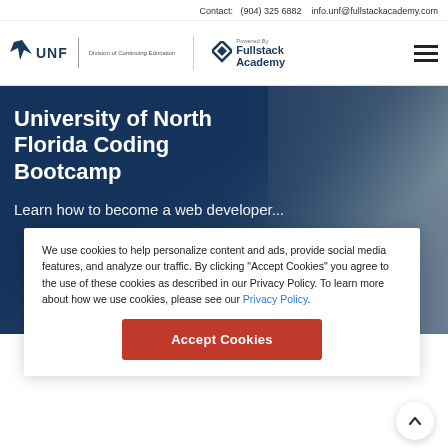Contact:  (904) 325 6882   info.unf@fullstackacademy.com
[Figure (logo): UNF Division of Continuing Education logo and Fullstack Academy logo with hamburger menu icon]
University of North Florida Coding Bootcamp
Learn how to become a web developer...
We use cookies to help personalize content and ads, provide social media features, and analyze our traffic. By clicking "Accept Cookies" you agree to the use of these cookies as described in our Privacy Policy. To learn more about how we use cookies, please see our Privacy Policy.